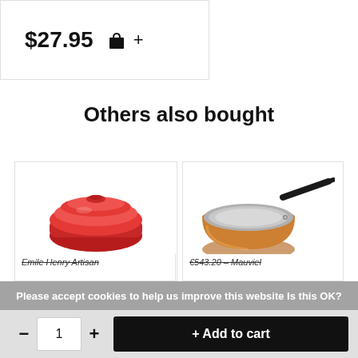$27.95 🛍 +
Others also bought
[Figure (photo): Red oval ceramic casserole dish with lid (Emile Henry Artisan style)]
[Figure (photo): Copper saucepan with black cast iron handle (Mauviel style)]
Emile Henry Artisan
€543.20 - Mauviel
Please accept cookies to help us improve this website Is this OK?
- 1 + + Add to cart